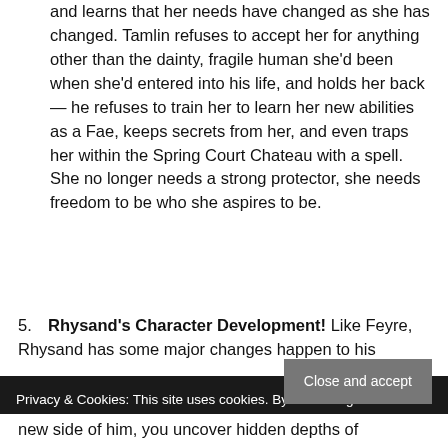and learns that her needs have changed as she has changed. Tamlin refuses to accept her for anything other than the dainty, fragile human she'd been when she'd entered into his life, and holds her back — he refuses to train her to learn her new abilities as a Fae, keeps secrets from her, and even traps her within the Spring Court Chateau with a spell. She no longer needs a strong protector, she needs freedom to be who she aspires to be.
5. Rhysand's Character Development! Like Feyre, Rhysand has some major changes happen to his new side of him, you uncover hidden depths of
Privacy & Cookies: This site uses cookies. By continuing to use this website, you agree to their use. To find out more, including how to control cookies, see here: Cookie Policy
Close and accept
new side of him, you uncover hidden depths of